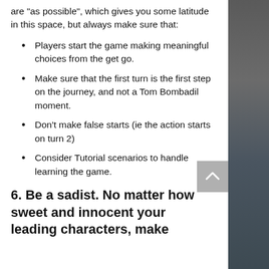are "as possible", which gives you some latitude in this space, but always make sure that:
Players start the game making meaningful choices from the get go.
Make sure that the first turn is the first step on the journey, and not a Tom Bombadil moment.
Don't make false starts (ie the action starts on turn 2)
Consider Tutorial scenarios to handle learning the game.
6. Be a sadist. No matter how sweet and innocent your leading characters, make